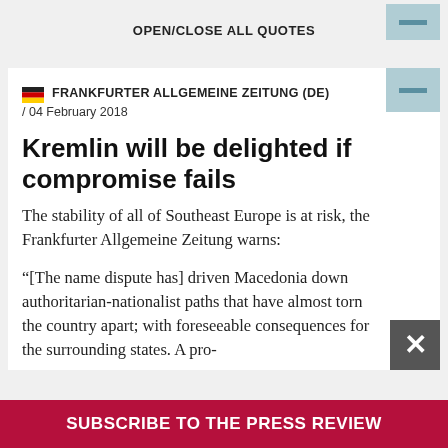OPEN/CLOSE ALL QUOTES
FRANKFURTER ALLGEMEINE ZEITUNG (DE) / 04 February 2018
Kremlin will be delighted if compromise fails
The stability of all of Southeast Europe is at risk, the Frankfurter Allgemeine Zeitung warns:
“[The name dispute has] driven Macedonia down authoritarian-nationalist paths that have almost torn the country apart; with foreseeable consequences for the surrounding states. A pro-
SUBSCRIBE TO THE PRESS REVIEW